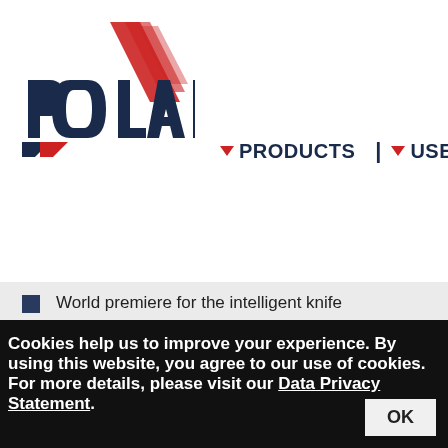[Figure (logo): POLAR logo with red chevron/mountain graphic and text 'CUTTING DOWN COMPLEXITY' below]
PRODUCTS | USERS
World premiere for the intelligent knife
Essentra Packaging invests in heavyweight champion POLAR CuttingSystem 300
Two innovations for the anniversary
POLAR celebrates 115 Years with Anniversary Special
Cookies help us to improve your experience. By using this website, you agree to our use of cookies. For more details, please visit our Data Privacy Statement.